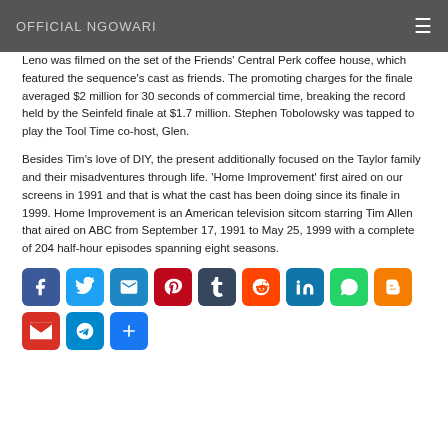OFFICIAL NGOWARI
Leno was filmed on the set of the Friends' Central Perk coffee house, which featured the sequence's cast as friends. The promoting charges for the finale averaged $2 million for 30 seconds of commercial time, breaking the record held by the Seinfeld finale at $1.7 million. Stephen Tobolowsky was tapped to play the Tool Time co-host, Glen.
Besides Tim's love of DIY, the present additionally focused on the Taylor family and their misadventures through life. 'Home Improvement' first aired on our screens in 1991 and that is what the cast has been doing since its finale in 1999. Home Improvement is an American television sitcom starring Tim Allen that aired on ABC from September 17, 1991 to May 25, 1999 with a complete of 204 half-hour episodes spanning eight seasons.
[Figure (other): Social media sharing icons: Facebook, Twitter, Email, Pinterest, Tumblr, Reddit, LinkedIn, WhatsApp, Blogger, Gmail, Telegram, Add/Share]